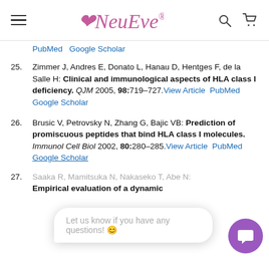NewEve (logo navigation bar)
PubMed  Google Scholar
25. Zimmer J, Andres E, Donato L, Hanau D, Hentges F, de la Salle H: Clinical and immunological aspects of HLA class I deficiency. QJM 2005, 98:719–727. View Article  PubMed  Google Scholar
26. Brusic V, Petrovsky N, Zhang G, Bajic VB: Prediction of promiscuous peptides that bind HLA class I molecules. Immunol Cell Biol 2002, 80:280–285. View Article  PubMed  Google Scholar
27. Saaka R, Mamitsuka N, Nakaseko T, Abe N: Empirical evaluation of a dynamic